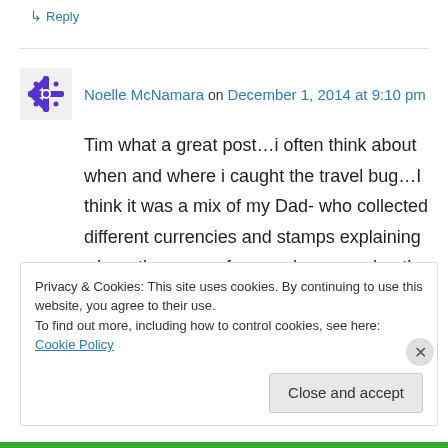↳ Reply
Noelle McNamara on December 1, 2014 at 9:10 pm
Tim what a great post…i often think about when and where i caught the travel bug…I think it was a mix of my Dad- who collected different currencies and stamps explaining where they came from and my grandmother who always had maps and who herself was fascinated with world flags and capitals. I think it opened to mind to the
Privacy & Cookies: This site uses cookies. By continuing to use this website, you agree to their use.
To find out more, including how to control cookies, see here: Cookie Policy
Close and accept